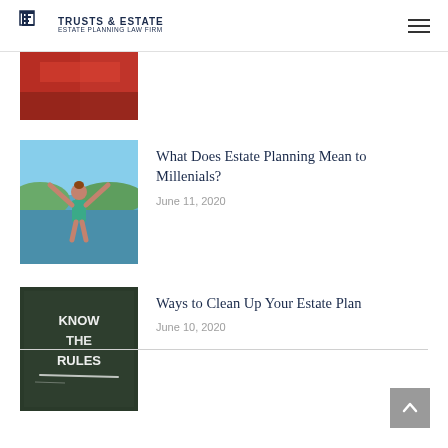TRUSTS & ESTATE ESTATE PLANNING LAW FIRM
[Figure (photo): Partial image at top left, reddish/boat image cropped]
[Figure (photo): Person with arms raised outdoors near water with blue-green background]
What Does Estate Planning Mean to Millenials?
June 11, 2020
[Figure (photo): Chalkboard with text KNOW THE RULES written in white chalk]
Ways to Clean Up Your Estate Plan
June 10, 2020